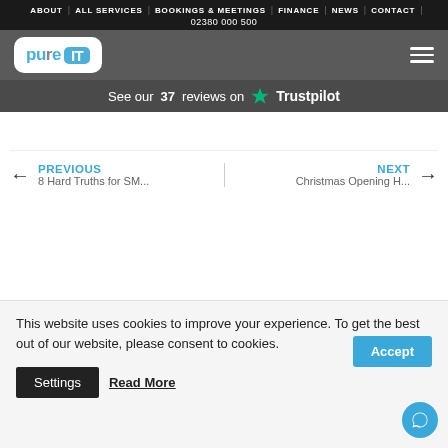ABOUT | ALL SERVICES | BOOKINGS & MEETINGS | FINANCE | NEWS | CONTACT | 02380 000 500
[Figure (logo): Pure IT logo on gray background with hamburger menu icon]
See our 37 reviews on ★ Trustpilot
← PREVIOUS
8 Hard Truths for SM...
NEXT →
Christmas Opening H...
This website uses cookies to improve your experience. To get the best out of our website, please consent to cookies.
Settings | Read More | Accept